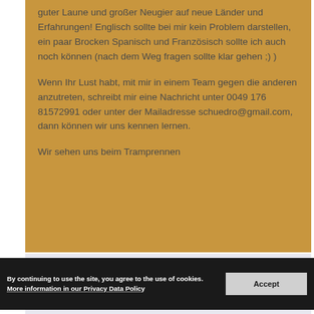guter Laune und großer Neugier auf neue Länder und Erfahrungen! Englisch sollte bei mir kein Problem darstellen, ein paar Brocken Spanisch und Französisch sollte ich auch noch können (nach dem Weg fragen sollte klar gehen ;) )

Wenn Ihr Lust habt, mit mir in einem Team gegen die anderen anzutreten, schreibt mir eine Nachricht unter 0049 176 81572991 oder unter der Mailadresse schuedro@gmail.com, dann können wir uns kennen lernen.

Wir sehen uns beim Tramprennen
By continuing to use the site, you agree to the use of cookies. More information in our Privacy Data Policy
Hello Everyone,